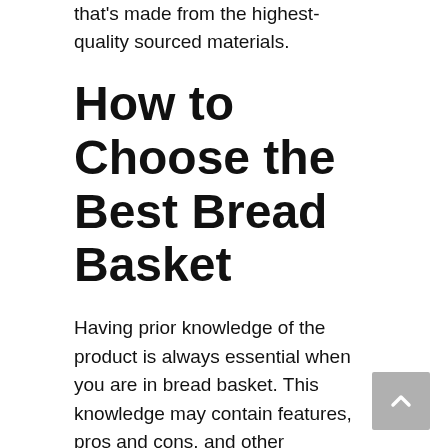that's made from the highest-quality sourced materials.
How to Choose the Best Bread Basket
Having prior knowledge of the product is always essential when you are in bread basket. This knowledge may contain features, pros and cons, and other performance controlling factors. Thus, we suggest you know the pricing level of the product compared to its usefulness for a happy purchase.
Without proper research and comparison, you alone may waste your valuable time. But